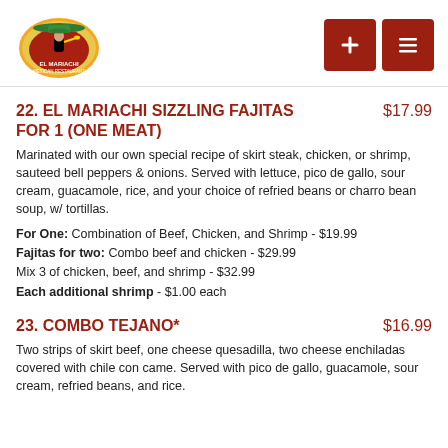[Figure (logo): El Mariachi Mexican Restaurant logo — circular badge with a mariachi figure, colorful sombrero, yellow and green design]
22. EL MARIACHI SIZZLING FAJITAS FOR 1 (ONE MEAT)
$17.99
Marinated with our own special recipe of skirt steak, chicken, or shrimp, sauteed bell peppers & onions. Served with lettuce, pico de gallo, sour cream, guacamole, rice, and your choice of refried beans or charro bean soup, w/ tortillas.
For One: Combination of Beef, Chicken, and Shrimp - $19.99
Fajitas for two: Combo beef and chicken - $29.99
Mix 3 of chicken, beef, and shrimp - $32.99
Each additional shrimp - $1.00 each
23. COMBO TEJANO*
$16.99
Two strips of skirt beef, one cheese quesadilla, two cheese enchiladas covered with chile con came. Served with pico de gallo, guacamole, sour cream, refried beans, and rice.